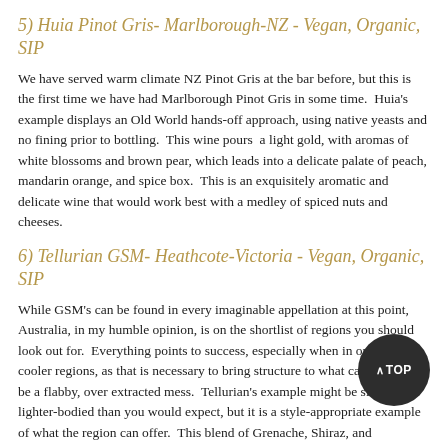5) Huia Pinot Gris- Marlborough-NZ - Vegan, Organic, SIP
We have served warm climate NZ Pinot Gris at the bar before, but this is the first time we have had Marlborough Pinot Gris in some time.  Huia's example displays an Old World hands-off approach, using native yeasts and no fining prior to bottling.  This wine pours  a light gold, with aromas of white blossoms and brown pear, which leads into a delicate palate of peach, mandarin orange, and spice box.  This is an exquisitely aromatic and delicate wine that would work best with a medley of spiced nuts and cheeses.
6) Tellurian GSM- Heathcote-Victoria - Vegan, Organic, SIP
While GSM's can be found in every imaginable appellation at this point, Australia, in my humble opinion, is on the shortlist of regions you should look out for.  Everything points to success, especially when in one of the cooler regions, as that is necessary to bring structure to what can otherwise be a flabby, over extracted mess.  Tellurian's example might be slightly lighter-bodied than you would expect, but it is a style-appropriate example of what the region can offer.  This blend of Grenache, Shiraz, and Mourvedre pours a medium ruby with plum hues, and offers aromas of various red fruits grounded by earth and herbal notes.  The palate is medium-bodied, with medium acid accenting plum, tart cherry and strawberry.  This is very much the requisite BBQ wine on the list.